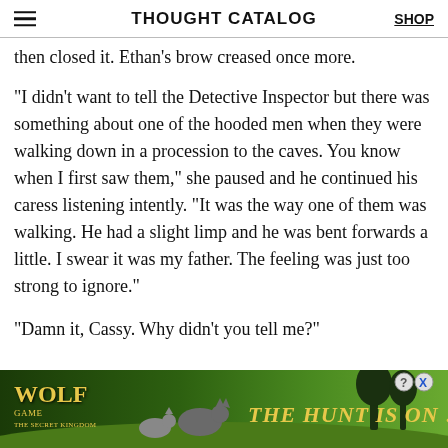THOUGHT CATALOG | SHOP
then closed it. Ethan's brow creased once more.
“I didn’t want to tell the Detective Inspector but there was something about one of the hooded men when they were walking down in a procession to the caves. You know when I first saw them,” she paused and he continued his caress listening intently. “It was the way one of them was walking. He had a slight limp and he was bent forwards a little. I swear it was my father. The feeling was just too strong to ignore.”
“Damn it, Cassy. Why didn’t you tell me?”
[Figure (other): Wolf Game advertisement banner showing wolves in a meadow with text 'THE HUNT IS ON !']